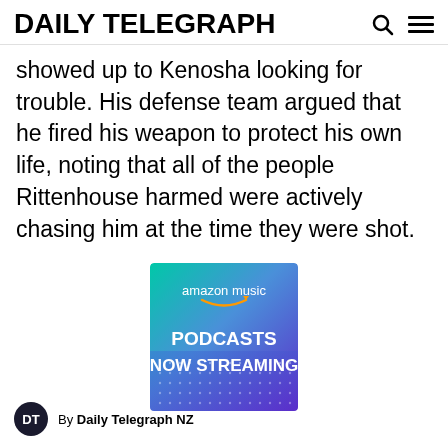DAILY TELEGRAPH
showed up to Kenosha looking for trouble. His defense team argued that he fired his weapon to protect his own life, noting that all of the people Rittenhouse harmed were actively chasing him at the time they were shot.
[Figure (photo): Amazon Music advertisement banner with gradient background (teal to purple/blue). Shows 'amazon music' logo with smile arrow, text 'PODCASTS NOW STREAMING' in bold white letters on colorful gradient background.]
By Daily Telegraph NZ